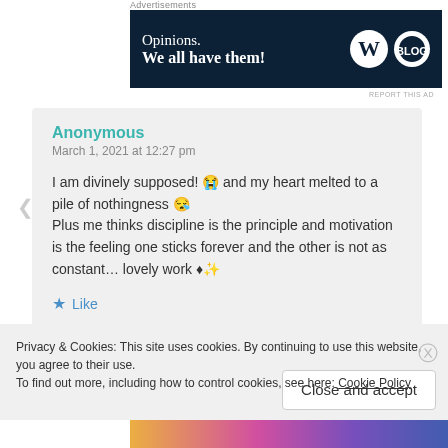Advertisements
[Figure (other): Advertisement banner with dark navy background. Text: 'Opinions. We all have them!' with WordPress and Blog logos on the right.]
REPORT THIS AD
Anonymous
March 1, 2021 at 12:27 pm

I am divinely supposed! 😭 and my heart melted to a pile of nothingness 😪
Plus me thinks discipline is the principle and motivation is the feeling one sticks forever and the other is not as constant... lovely work ♦✨

★ Like
Privacy & Cookies: This site uses cookies. By continuing to use this website, you agree to their use.
To find out more, including how to control cookies, see here: Cookie Policy
Close and accept